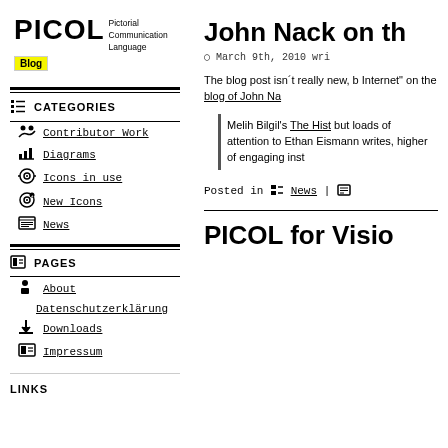[Figure (logo): PICOL logo with 'Pictorial Communication Language' text and yellow 'Blog' badge]
CATEGORIES
Contributor Work
Diagrams
Icons in use
New Icons
News
PAGES
About
Datenschutzerklärung
Downloads
Impressum
LINKS
John Nack on th
March 9th, 2010 wri
The blog post isn´t really new, b Internet" on the blog of John Na
Melih Bilgil's The Hist but loads of attention to Ethan Eismann writes, higher of engaging inst
Posted in News |
PICOL for Visio